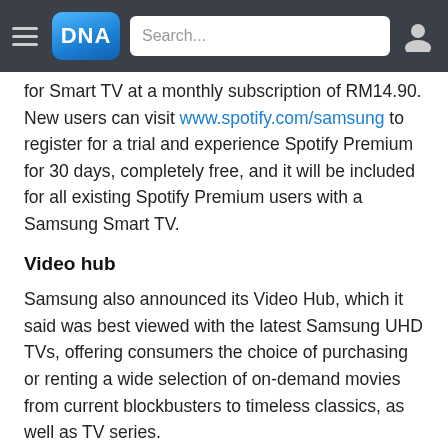DNA — Search...
for Smart TV at a monthly subscription of RM14.90. New users can visit www.spotify.com/samsung to register for a trial and experience Spotify Premium for 30 days, completely free, and it will be included for all existing Spotify Premium users with a Samsung Smart TV.
Video hub
Samsung also announced its Video Hub, which it said was best viewed with the latest Samsung UHD TVs, offering consumers the choice of purchasing or renting a wide selection of on-demand movies from current blockbusters to timeless classics, as well as TV series.
Users can stream or download a video on Samsung Video Hub and choose to watch it across multiple Samsung devices, from Smart TVs to GALAXY smartphones...